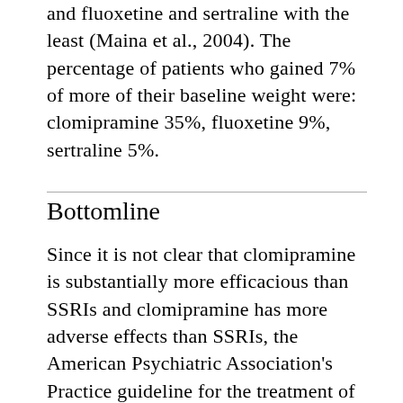and fluoxetine and sertraline with the least (Maina et al., 2004). The percentage of patients who gained 7% of more of their baseline weight were: clomipramine 35%, fluoxetine 9%, sertraline 5%.
Bottomline
Since it is not clear that clomipramine is substantially more efficacious than SSRIs and clomipramine has more adverse effects than SSRIs, the American Psychiatric Association's Practice guideline for the treatment of patients with obsessive-